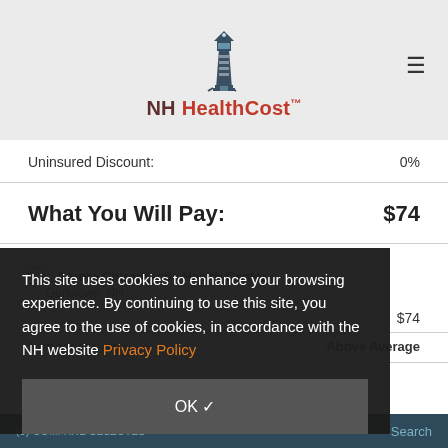[Figure (logo): NH HealthCost lighthouse logo with text 'NH HealthCost TM']
Uninsured Discount: 0%
What You Will Pay: $74
Aurora Chiropractic Health Center >
Goffstown, NH
$74
Number of Visits: Above Average
This site uses cookies to enhance your browsing experience. By continuing to use this site, you agree to the use of cookies, in accordance with the NH website Privacy Policy
OK ✓
(5) COMPARE SELECTED   Search